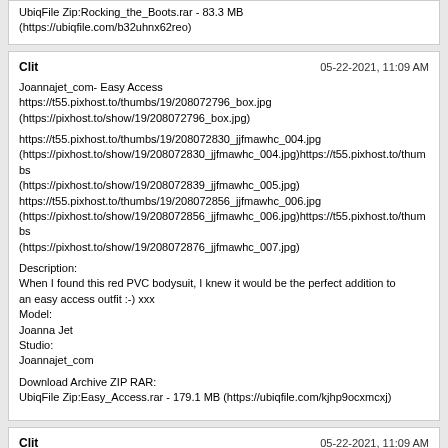UbiqFile Zip:Rocking_the_Boots.rar - 83.3 MB (https://ubiqfile.com/b32uhnx62reo)
Clit   05-22-2021, 11:09 AM
Joannajet_com- Easy Access
https://t55.pixhost.to/thumbs/19/208072796_box.jpg (https://pixhost.to/show/19/208072796_box.jpg)

https://t55.pixhost.to/thumbs/19/208072830_jjfmawhc_004.jpg (https://pixhost.to/show/19/208072830_jjfmawhc_004.jpg)https://t55.pixhost.to/thumbs (https://pixhost.to/show/19/208072839_jjfmawhc_005.jpg) https://t55.pixhost.to/thumbs/19/208072856_jjfmawhc_006.jpg (https://pixhost.to/show/19/208072856_jjfmawhc_006.jpg)https://t55.pixhost.to/thumbs (https://pixhost.to/show/19/208072876_jjfmawhc_007.jpg)

Description:
When I found this red PVC bodysuit, I knew it would be the perfect addition to an easy access outfit :-) xxx
Model:
Joanna Jet
Studio:
Joannajet_com

Download Archive ZIP RAR:
UbiqFile Zip:Easy_Access.rar - 179.1 MB (https://ubiqfile.com/kjhp9ocxmcxj)
Clit   05-22-2021, 11:09 AM
Joannajet.com- Me and You 455 - A Holey Outfit
https://t55.pixhost.to/thumbs/37/208377141_box.jpg (https://pixhost.to/show/37/208377141_box.jpg)
https://t55.pixhost.to/thumbs/37/208377661_jjmay455-uhd-mp4.jpg (https://pixhost.to/show/37/208377661_jjmay455-uhd-mp4.jpg)